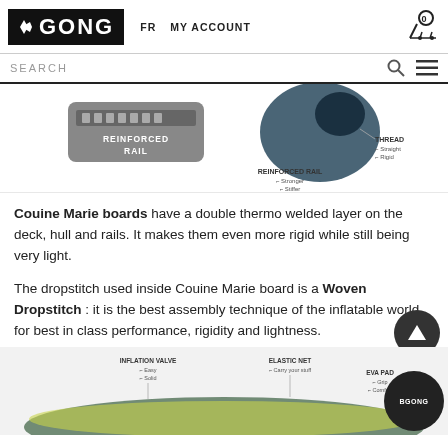GONG  FR  MY ACCOUNT
SEARCH
[Figure (infographic): Product diagram showing reinforced rail detail with labels for THREAD (Straight, Rigid) and REINFORCED RAIL (Stronger, Stiffer)]
Couine Marie boards have a double thermo welded layer on the deck, hull and rails. It makes them even more rigid while still being very light.
The dropstitch used inside Couine Marie board is a Woven Dropstitch : it is the best assembly technique of the inflatable world, for best in class performance, rigidity and lightness.
[Figure (infographic): Product diagram of an inflatable SUP board showing labels: INFLATION VALVE (Easy, Solid), ELASTIC NET (Carry your stuff), EVA PAD (Grip, Comfort), and BGONG logo chat bubble]